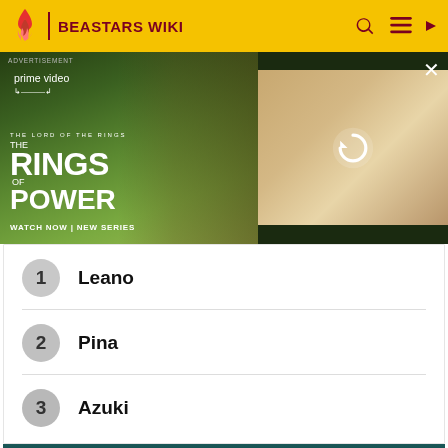BEASTARS WIKI
[Figure (screenshot): Amazon Prime Video advertisement for The Lord of the Rings: The Rings of Power — showing two characters from the show with text 'WATCH NOW | NEW SERIES' and a video reload panel on the right]
1 Leano
2 Pina
3 Azuki